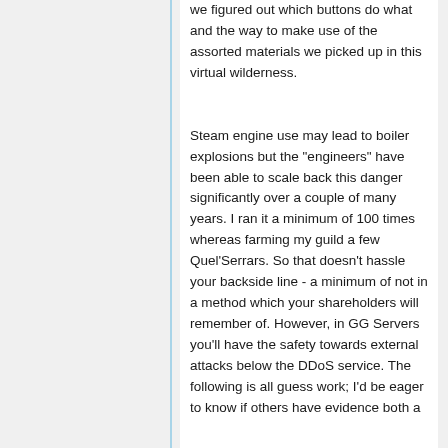we figured out which buttons do what and the way to make use of the assorted materials we picked up in this virtual wilderness.
Steam engine use may lead to boiler explosions but the "engineers" have been able to scale back this danger significantly over a couple of many years. I ran it a minimum of 100 times whereas farming my guild a few Quel'Serrars. So that doesn't hassle your backside line - a minimum of not in a method which your shareholders will remember of. However, in GG Servers you'll have the safety towards external attacks below the DDoS service. The following is all guess work; I'd be eager to know if others have evidence both a